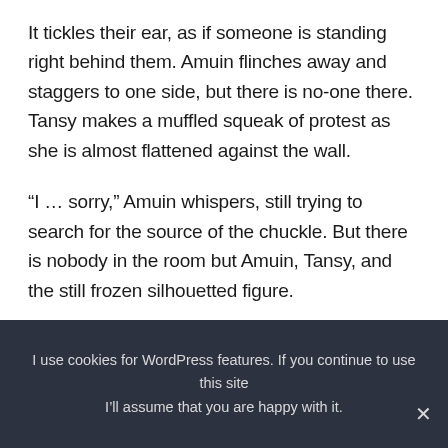It tickles their ear, as if someone is standing right behind them. Amuin flinches away and staggers to one side, but there is no-one there. Tansy makes a muffled squeak of protest as she is almost flattened against the wall.
“I … sorry,” Amuin whispers, still trying to search for the source of the chuckle. But there is nobody in the room but Amuin, Tansy, and the still frozen silhouetted figure.
Amuin walks towards the shadowy shape. “Who are you?”
I use cookies for WordPress features. If you continue to use this site I’ll assume that you are happy with it.